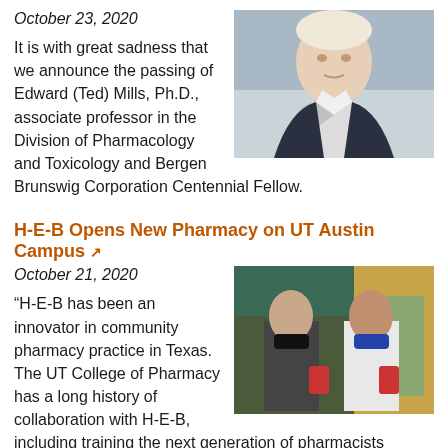October 23, 2020
[Figure (photo): Headshot of Edward (Ted) Mills, Ph.D., a man in a suit against a grey background]
It is with great sadness that we announce the passing of Edward (Ted) Mills, Ph.D., associate professor in the Division of Pharmacology and Toxicology and Bergen Brunswig Corporation Centennial Fellow.
H-E-B Opens New Pharmacy on UT Austin Campus
October 21, 2020
[Figure (photo): Two people in masks, one in a suit and one in a white coat, standing together in a pharmacy or store setting]
“H-E-B has been an innovator in community pharmacy practice in Texas. The UT College of Pharmacy has a long history of collaboration with H-E-B, including training the next generation of pharmacists through internships, experiential rotations, and post-graduate residencies,” said Dean Samuel M. Poloyac. “The opening of the new pharmacy on the UT Austin campus is a wonderful opportunity to enhance our